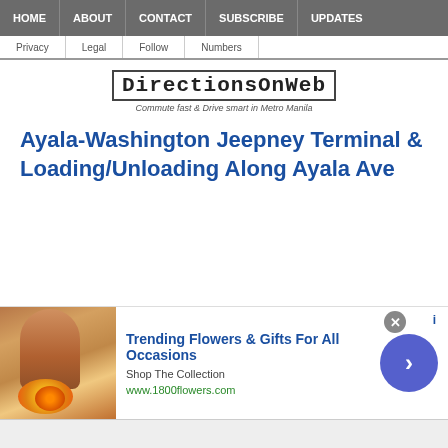HOME | ABOUT | CONTACT | SUBSCRIBE | UPDATES
Privacy | Legal | Follow | Numbers
[Figure (logo): DirectionsOnWeb logo with tagline: Commute fast & Drive smart in Metro Manila]
Ayala-Washington Jeepney Terminal & Loading/Unloading Along Ayala Ave
[Figure (photo): Advertisement banner: Trending Flowers & Gifts For All Occasions. Shop The Collection. www.1800flowers.com. Photo of woman with flowers.]